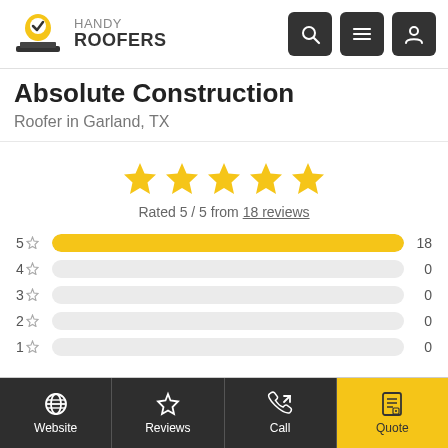HANDY ROOFERS
Absolute Construction
Roofer in Garland, TX
Rated 5 / 5 from 18 reviews
| Stars | Count |
| --- | --- |
| 5 ☆ | 18 |
| 4 ☆ | 0 |
| 3 ☆ | 0 |
| 2 ☆ | 0 |
| 1 ☆ | 0 |
Website | Reviews | Call | Quote